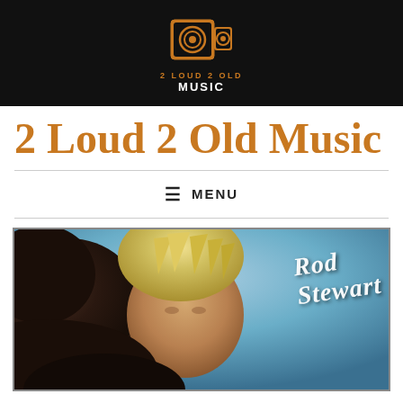[Figure (logo): 2 Loud 2 Old Music logo with speaker icon on black background]
2 Loud 2 Old Music
≡ MENU
[Figure (photo): Rod Stewart album cover with two people on a blue background, script signature reading Rod Stewart]